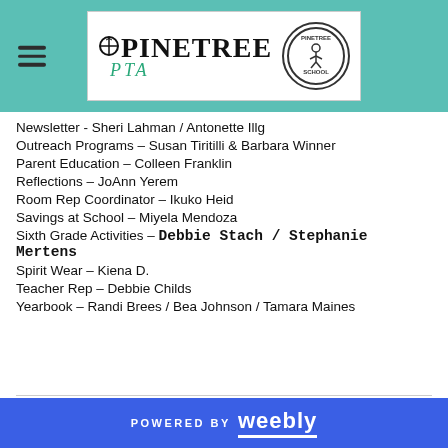The Pinetree PTA
Newsletter - Sheri Lahman / Antonette Illg
Outreach Programs – Susan Tiritilli & Barbara Winner
Parent Education – Colleen Franklin
Reflections – JoAnn Yerem
Room Rep Coordinator – Ikuko Heid
Savings at School – Miyela Mendoza
Sixth Grade Activities – Debbie Stach / Stephanie Mertens
Spirit Wear – Kiena D.
Teacher Rep – Debbie Childs
Yearbook – Randi Brees / Bea Johnson / Tamara Maines
POWERED BY weebly